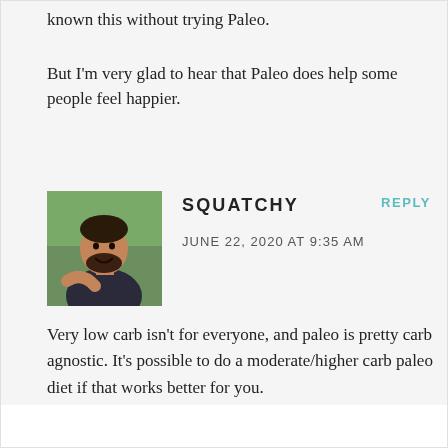known this without trying Paleo.
But I'm very glad to hear that Paleo does help some people feel happier.
SQUATCHY
JUNE 22, 2020 AT 9:35 AM
REPLY
[Figure (photo): Profile photo of commenter Squatchy, a man with a beard smiling outdoors]
Very low carb isn't for everyone, and paleo is pretty carb agnostic. It's possible to do a moderate/higher carb paleo diet if that works better for you.